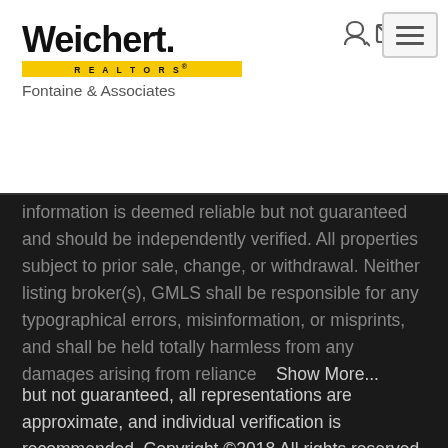[Figure (logo): Weichert Realtors – Fontaine & Associates logo with yellow REALTORS bar]
information is deemed reliable but not guaranteed and should be independently verified. All properties subject to prior sale, change, or withdrawal. Neither listing broker(s), GMLS shall be responsible for any typographical errors, misinformation, or misprints, and shall be held totally harmless from any damages arising from reliance  Show More...
[Figure (logo): REALTOR MLS Multiple Listing Service logo badge]
Information should be deemed reliable
but not guaranteed, all representations are approximate, and individual verification is recommended. Copyright ©2018 All rights reserved. Last Update: September 1, 2022 2:31 PM UTC